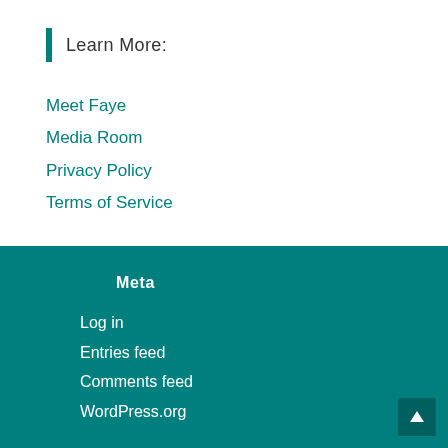Learn More:
Meet Faye
Media Room
Privacy Policy
Terms of Service
Meta
Log in
Entries feed
Comments feed
WordPress.org